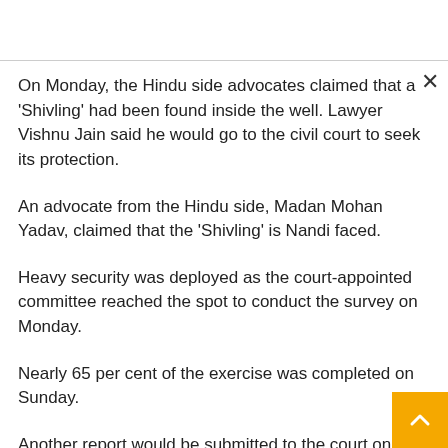On Monday, the Hindu side advocates claimed that a 'Shivling' had been found inside the well. Lawyer Vishnu Jain said he would go to the civil court to seek its protection.
An advocate from the Hindu side, Madan Mohan Yadav, claimed that the 'Shivling' is Nandi faced.
Heavy security was deployed as the court-appointed committee reached the spot to conduct the survey on Monday.
Nearly 65 per cent of the exercise was completed on Sunday.
Another report would be submitted to the court on Tuesday.